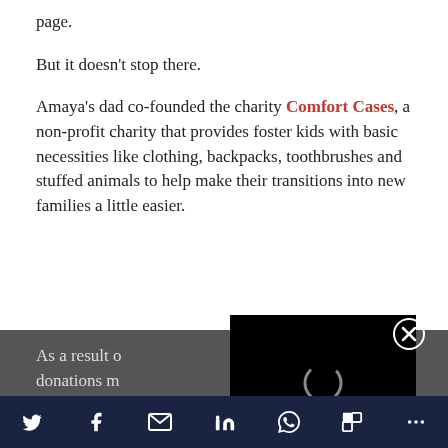page.
But it doesn't stop there.
Amaya's dad co-founded the charity Comfort Cases, a non-profit charity that provides foster kids with basic necessities like clothing, backpacks, toothbrushes and stuffed animals to help make their transitions into new families a little easier.
As a result o[f...]ry donations m[...]l from last year.
[Figure (screenshot): Video player overlay showing loading spinner and playback controls (pause, mute) on black background with close button]
Social share bar with Twitter, Facebook, Email, LinkedIn, WhatsApp, Flipboard, and more buttons